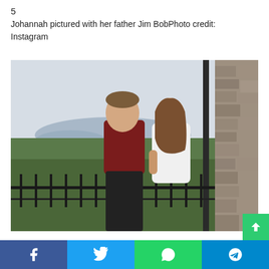5
Johannah pictured with her father Jim BobPhoto credit: Instagram
[Figure (photo): Two young people — a man in a dark red shirt and a woman in a white dress — standing together on an outdoor overlook with a lake and trees in the background, next to a stone wall.]
Facebook | Twitter | WhatsApp | Telegram